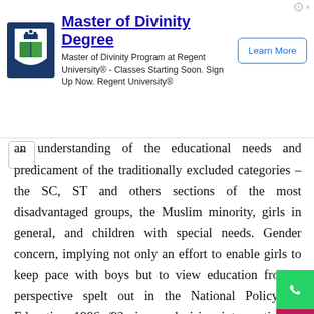[Figure (infographic): Advertisement banner for Master of Divinity Degree at Regent University with logo, text, and Learn More button]
an understanding of the educational needs and predicament of the traditionally excluded categories – the SC, ST and others sections of the most disadvantaged groups, the Muslim minority, girls in general, and children with special needs. Gender concern, implying not only an effort to enable girls to keep pace with boys but to view education from a perspective spelt out in the National Policy on Education 1986/92; i.e. a decisive intervention to bring about a basic change in the status of women. Centrality of teacher, to motivate them to innovate and create a culture in the classroom, and beyond the classroom, that might produce an inclusive environment for children, especially for girls from oppressed and marginalised backgrounds. Moral compulsion is imposed through the RTE Act on parents, teachers, educational administrators and other